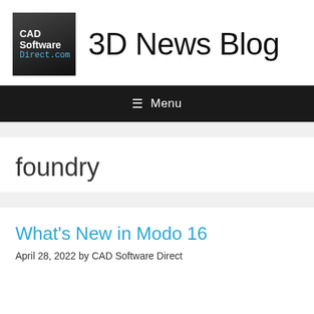CAD Software Direct.com — 3D News Blog
[Figure (logo): CAD Software Direct.com logo — dark gradient square with white bold text 'CAD Software' and teal monospace 'Direct.com']
3D News Blog
≡ Menu
foundry
What's New in Modo 16
April 28, 2022 by CAD Software Direct